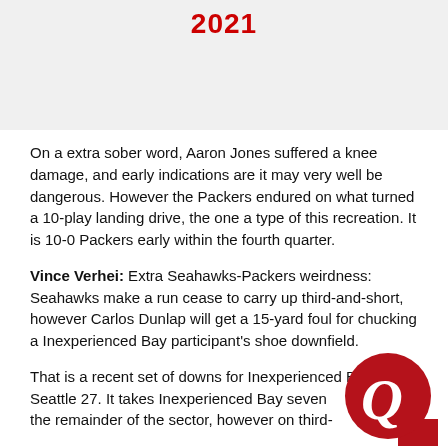2021
On a extra sober word, Aaron Jones suffered a knee damage, and early indications are it may very well be dangerous. However the Packers endured on what turned a 10-play landing drive, the one a type of this recreation. It is 10-0 Packers early within the fourth quarter.
Vince Verhei: Extra Seahawks-Packers weirdness: Seahawks make a run cease to carry up third-and-short, however Carlos Dunlap will get a 15-yard foul for chucking a Inexperienced Bay participant's shoe downfield.
That is a recent set of downs for Inexperienced Bay the Seattle 27. It takes Inexperienced Bay seven to cowl the remainder of the sector, however on third-